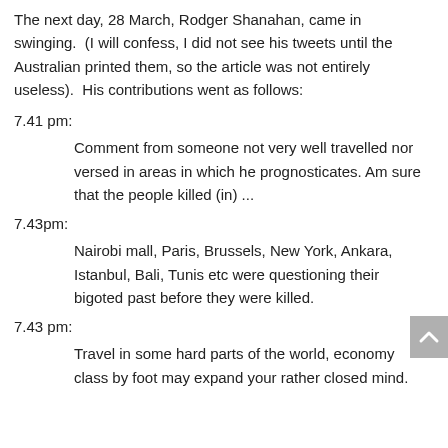The next day, 28 March, Rodger Shanahan, came in swinging.  (I will confess, I did not see his tweets until the Australian printed them, so the article was not entirely useless).  His contributions went as follows:
7.41 pm:
Comment from someone not very well travelled nor versed in areas in which he prognosticates. Am sure that the people killed (in) ...
7.43pm:
Nairobi mall, Paris, Brussels, New York, Ankara, Istanbul, Bali, Tunis etc were questioning their bigoted past before they were killed.
7.43 pm:
Travel in some hard parts of the world, economy class by foot may expand your rather closed mind.